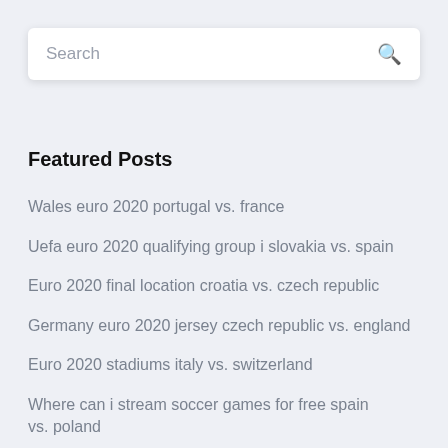[Figure (screenshot): Search input box with placeholder text 'Search' and a magnifying glass icon on the right]
Featured Posts
Wales euro 2020 portugal vs. france
Uefa euro 2020 qualifying group i slovakia vs. spain
Euro 2020 final location croatia vs. czech republic
Germany euro 2020 jersey czech republic vs. england
Euro 2020 stadiums italy vs. switzerland
Where can i stream soccer games for free spain vs. poland
Euro 2020 results qualifying spain vs. sweden